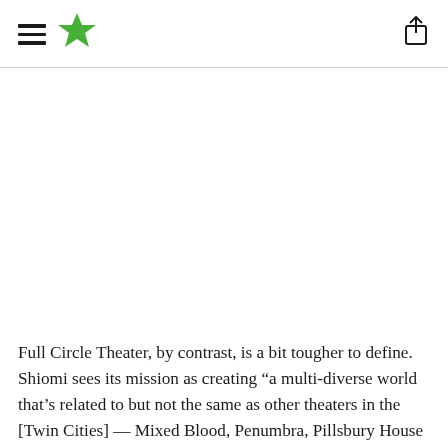[Navigation header with hamburger menu, star logo, and share icon]
Full Circle Theater, by contrast, is a bit tougher to define. Shiomi sees its mission as creating “a multi-diverse world that’s related to but not the same as other theaters in the [Twin Cities] — Mixed Blood, Penumbra, Pillsbury House or Mu. We didn’t want to